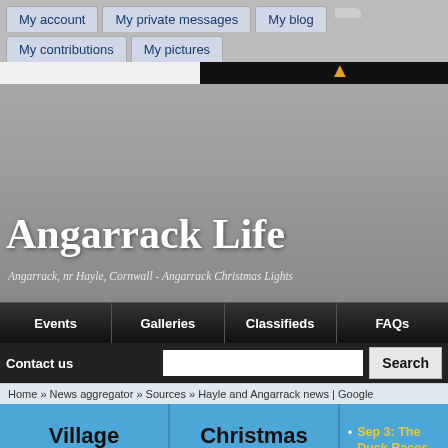My account | My private messages | My blog | My contributions | My pictures
[Figure (screenshot): Website banner header area with grey gradient background showing partial white bar and black bar with flame icon]
Angarrack Life
Angarrack, nr Hayle, Cornwall - Angarrack Christmas Lights
Events | Galleries | Classifieds | FAQs
Contact us  [Search input]  Search
Home » News aggregator » Sources » Hayle and Angarrack news | Google
Village News
Christmas Lights
Sep 3: The Duck Races are back!